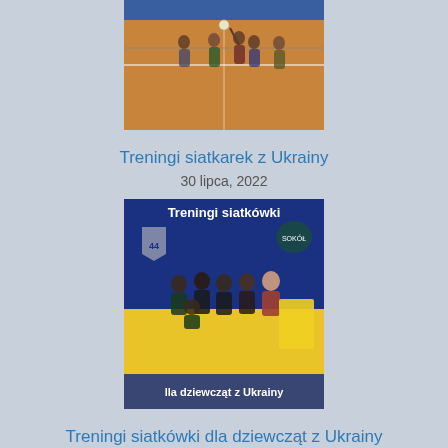[Figure (photo): People playing volleyball in a gymnasium with an orange court floor and blue wall]
Treningi siatkarek z Ukrainy
30 lipca, 2022
[Figure (photo): Poster and photo for volleyball trainings for girls from Ukraine - Treningi siatkówki dla dziewcząt z Ukrainy, with group photo of players on blue and yellow background]
Treningi siatkówki dla dziewcząt z Ukrainy
26 lipca, 2022
[Figure (photo): Partial view of a flyer about safe swimming - Zasady Bezpiecznej Kąpieli]